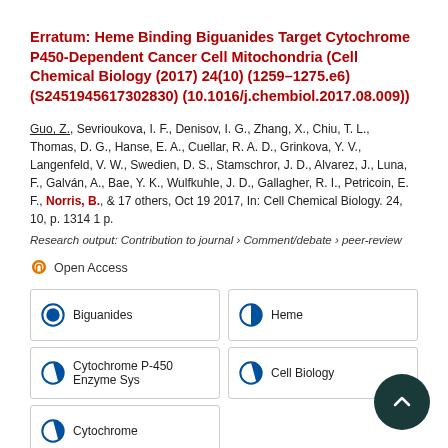Erratum: Heme Binding Biguanides Target Cytochrome P450-Dependent Cancer Cell Mitochondria (Cell Chemical Biology (2017) 24(10) (1259–1275.e6) (S2451945617302830) (10.1016/j.chembiol.2017.08.009))
Guo, Z., Sevrioukova, I. F., Denisov, I. G., Zhang, X., Chiu, T. L., Thomas, D. G., Hanse, E. A., Cuellar, R. A. D., Grinkova, Y. V., Langenfeld, V. W., Swedien, D. S., Stamschror, J. D., Alvarez, J., Luna, F., Galván, A., Bae, Y. K., Wulfkuhle, J. D., Gallagher, R. I., Petricoin, E. F., Norris, B., & 17 others, Oct 19 2017, In: Cell Chemical Biology. 24, 10, p. 1314 1 p.
Research output: Contribution to journal › Comment/debate › peer-review
Open Access
Biguanides
Heme
Cytochrome P-450 Enzyme Sys
Cell Biology
Cytochrome